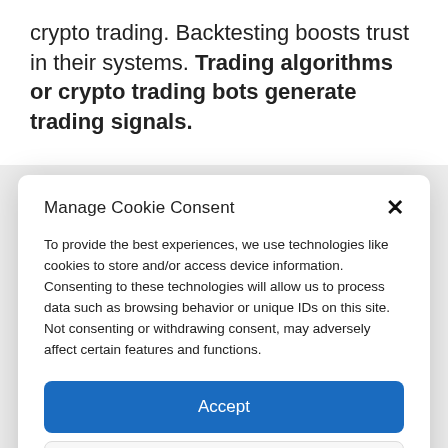crypto trading. Backtesting boosts trust in their systems. Trading algorithms or crypto trading bots generate trading signals.
Manage Cookie Consent
To provide the best experiences, we use technologies like cookies to store and/or access device information. Consenting to these technologies will allow us to process data such as browsing behavior or unique IDs on this site. Not consenting or withdrawing consent, may adversely affect certain features and functions.
Accept
Deny
View preferences
Cookie Policy  Privacy Statement